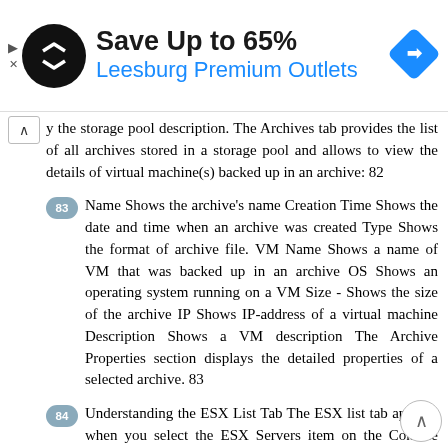[Figure (other): Advertisement banner: black circular logo with arrows icon, text 'Save Up to 65%' and 'Leesburg Premium Outlets' in blue, blue diamond navigation icon on right]
y the storage pool description. The Archives tab provides the list of all archives stored in a storage pool and allows to view the details of virtual machine(s) backed up in an archive: 82
83 Name Shows the archive's name Creation Time Shows the date and time when an archive was created Type Shows the format of archive file. VM Name Shows a name of VM that was backed up in an archive OS Shows an operating system running on a VM Size - Shows the size of the archive IP Shows IP-address of a virtual machine Description Shows a VM description The Archive Properties section displays the detailed properties of a selected archive. 83
84 Understanding the ESX List Tab The ESX list tab appears when you select the ESX Servers item on the Console tree. The tab displays all ESX hosts and their